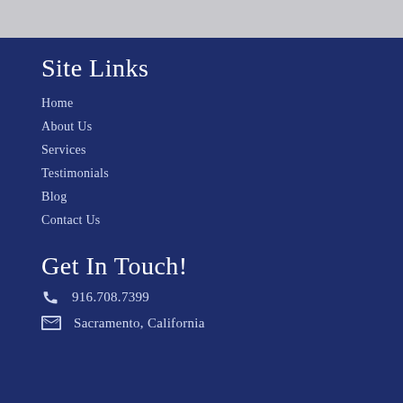Site Links
Home
About Us
Services
Testimonials
Blog
Contact Us
Get In Touch!
916.708.7399
Sacramento, California